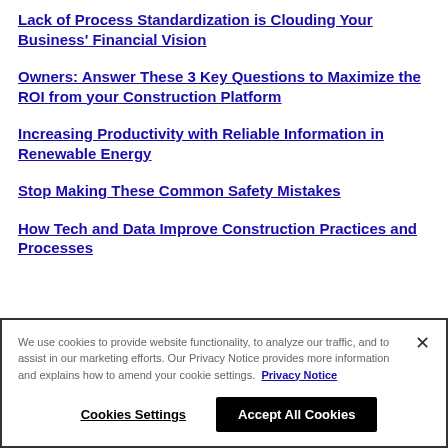Lack of Process Standardization is Clouding Your Business' Financial Vision
Owners: Answer These 3 Key Questions to Maximize the ROI from your Construction Platform
Increasing Productivity with Reliable Information in Renewable Energy
Stop Making These Common Safety Mistakes
How Tech and Data Improve Construction Practices and Processes
We use cookies to provide website functionality, to analyze our traffic, and to assist in our marketing efforts. Our Privacy Notice provides more information and explains how to amend your cookie settings. Privacy Notice
Cookies Settings | Accept All Cookies